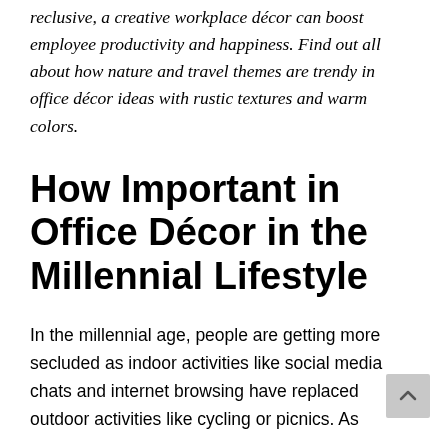reclusive, a creative workplace décor can boost employee productivity and happiness. Find out all about how nature and travel themes are trendy in office décor ideas with rustic textures and warm colors.
How Important in Office Décor in the Millennial Lifestyle
In the millennial age, people are getting more secluded as indoor activities like social media chats and internet browsing have replaced outdoor activities like cycling or picnics. As